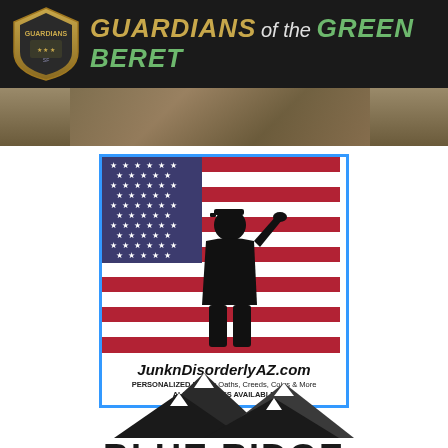GUARDIANS of the GREEN BERET
[Figure (logo): JunknDisorderlyAZ.com advertisement with American flag and soldier silhouette saluting. Text: JunknDisorderlyAZ.com, PERSONALIZED Military Oaths, Creeds, Coins & More, ALL BRANCHES AVAILABLE]
[Figure (logo): Blue Ridge Safehouse logo with mountain silhouette and Special Forces / military insignia badges below]